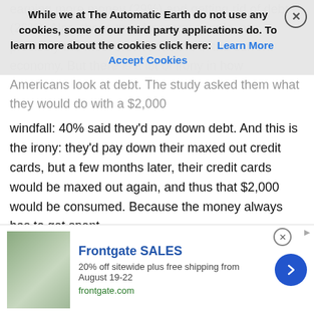earning more money (29%) and getting rid of debt (26%). Alas, those two, for many people, are precisely the most elusive factors in the current economy. But there is a lot of irony in how Americans look at debt. The study asked them what they would do with a $2,000
windfall: 40% said they'd pay down debt. And this is the irony: they'd pay down their maxed out credit cards, but a few months later, their credit cards would be maxed out again, and thus that $2,000 would be consumed. Because the money always has to get spent.
Read more …
Just in time for recess?!
Congress Agrees $1 Trillion Budget Deal – But No Money For Border Wall (G.)
Negotiators have reached a bipartisan agreement on a spending
[Figure (screenshot): Frontgate SALES advertisement banner: 20% off sitewide plus free shipping from August 19-22, frontgate.com, with outdoor furniture image and circular arrow button]